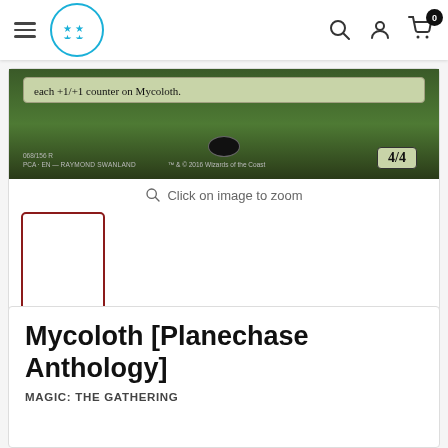Navigation bar with hamburger menu, star logo, search, account, and cart icons
[Figure (photo): Cropped Magic: The Gathering card image for Mycoloth showing green card text area with 'each +1/+1 counter on Mycoloth.' text, a 4/4 power/toughness box, set info '068/156 R PCA · EN — RAYMOND SWANLAND', copyright '™ & © 2016 Wizards of the Coast']
Click on image to zoom
[Figure (photo): Small thumbnail preview of the card, white/blank]
Mycoloth [Planechase Anthology]
MAGIC: THE GATHERING